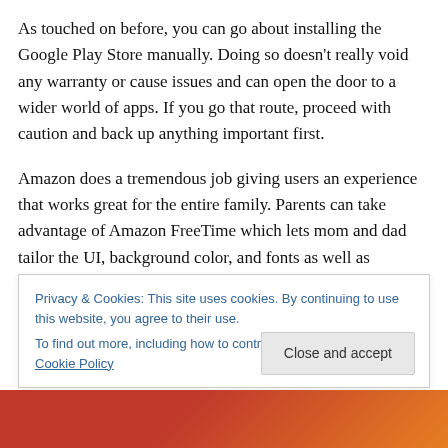As touched on before, you can go about installing the Google Play Store manually. Doing so doesn't really void any warranty or cause issues and can open the door to a wider world of apps. If you go that route, proceed with caution and back up anything important first.
Amazon does a tremendous job giving users an experience that works great for the entire family. Parents can take advantage of Amazon FreeTime which lets mom and dad tailor the UI, background color, and fonts as well as handpick the apps and games. Additionally, parents
Privacy & Cookies: This site uses cookies. By continuing to use this website, you agree to their use.
To find out more, including how to control cookies, see here: Cookie Policy
Close and accept
[Figure (photo): Bottom portion of a photo showing a red/orange colored device or object, partially visible at the bottom of the page.]